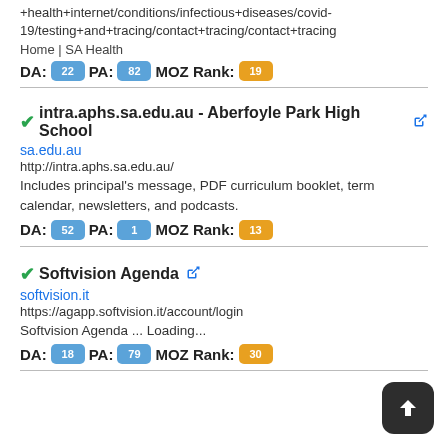+health+internet/conditions/infectious+diseases/covid-19/testing+and+tracing/contact+tracing/contact+tracing
Home | SA Health
DA: 22 PA: 82 MOZ Rank: 19
intra.aphs.sa.edu.au - Aberfoyle Park High School
sa.edu.au
http://intra.aphs.sa.edu.au/
Includes principal's message, PDF curriculum booklet, term calendar, newsletters, and podcasts.
DA: 52 PA: 1 MOZ Rank: 13
Softvision Agenda
softvision.it
https://agapp.softvision.it/account/login
Softvision Agenda ... Loading...
DA: 18 PA: 79 MOZ Rank: 30